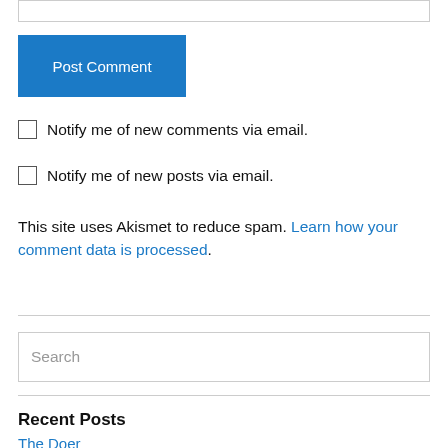[input bar at top]
Post Comment
Notify me of new comments via email.
Notify me of new posts via email.
This site uses Akismet to reduce spam. Learn how your comment data is processed.
Search
Recent Posts
The Doer